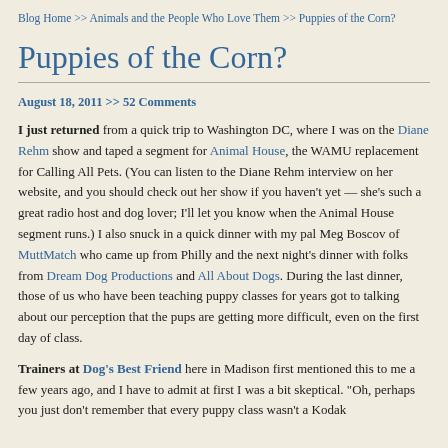Blog Home >> Animals and the People Who Love Them >> Puppies of the Corn?
Puppies of the Corn?
August 18, 2011 >> 52 Comments
I just returned from a quick trip to Washington DC, where I was on the Diane Rehm show and taped a segment for Animal House, the WAMU replacement for Calling All Pets. (You can listen to the Diane Rehm interview on her website, and you should check out her show if you haven't yet — she's such a great radio host and dog lover; I'll let you know when the Animal House segment runs.) I also snuck in a quick dinner with my pal Meg Boscov of MuttMatch who came up from Philly and the next night's dinner with folks from Dream Dog Productions and All About Dogs. During the last dinner, those of us who have been teaching puppy classes for years got to talking about our perception that the pups are getting more difficult, even on the first day of class.
Trainers at Dog's Best Friend here in Madison first mentioned this to me a few years ago, and I have to admit at first I was a bit skeptical. "Oh, perhaps you just don't remember that every puppy class wasn't a Kodak